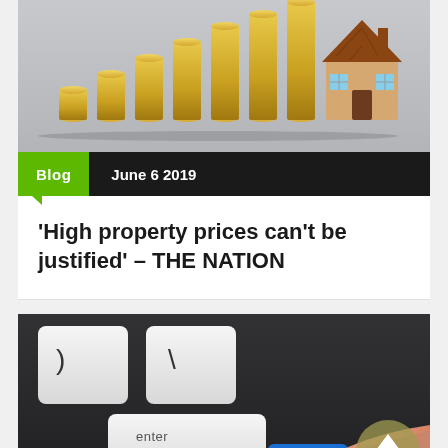[Figure (photo): Stacked gold coins increasing in height from left to right, with a small wooden house model on the right side, against a grey background. Property/investment concept.]
Blog  June 6 2019
'High property prices can't be justified' – THE NATION
[Figure (photo): Close-up photo of a keyboard with white keys, showing 'enter' and 'return' keys, with a finger pressing a blue key. A circular upload/back-to-top arrow icon overlaid in the bottom right corner.]